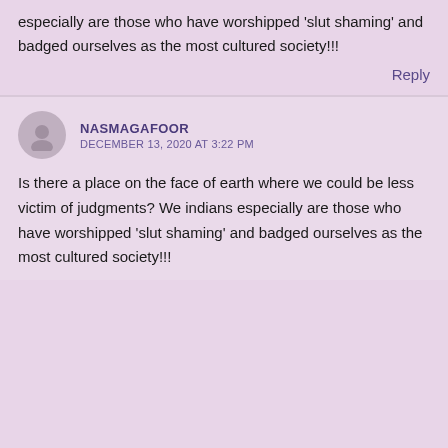especially are those who have worshipped 'slut shaming' and badged ourselves as the most cultured society!!!
Reply
NASMAGAFOOR
DECEMBER 13, 2020 AT 3:22 PM
Is there a place on the face of earth where we could be less victim of judgments? We indians especially are those who have worshipped 'slut shaming' and badged ourselves as the most cultured society!!!